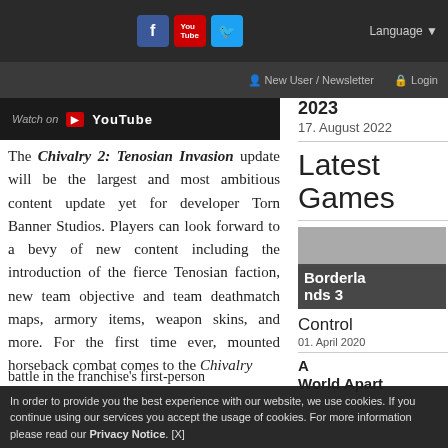Social icons: Facebook, YouTube, Twitter | Language ▼ | New User / Newsletter | Login
[Figure (screenshot): YouTube watch strip, dark background with 'Watch on YouTube' text]
2023
17. August 2022
Latest Games
[Figure (screenshot): Borderlands 3 game thumbnail with title overlay]
Control
01. April 2020
A World Apart
The Chivalry 2: Tenosian Invasion update will be the largest and most ambitious content update yet for developer Torn Banner Studios. Players can look forward to a bevy of new content including the introduction of the fierce Tenosian faction, new team objective and team deathmatch maps, armory items, weapon skins, and more. For the first time ever, mounted horseback combat comes to the Chivalry
battle in the franchise's first-person A World Apart
In order to provide you the best experience with our website, we use cookies. If you continue using our services you accept the usage of cookies. For more information please read our Privacy Notice. [X]